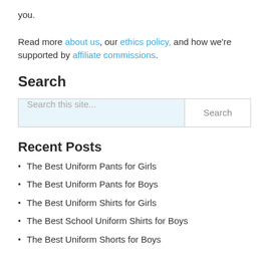you.
Read more about us, our ethics policy, and how we're supported by affiliate commissions.
Search
[Figure (other): Search input box with placeholder text 'Search this site...' and a Search button]
Recent Posts
The Best Uniform Pants for Girls
The Best Uniform Pants for Boys
The Best Uniform Shirts for Girls
The Best School Uniform Shirts for Boys
The Best Uniform Shorts for Boys